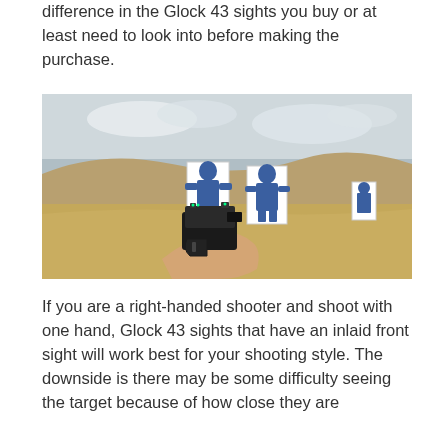difference in the Glock 43 sights you buy or at least need to look into before making the purchase.
[Figure (photo): A person holding a black handgun (Glock) aimed at two blue human silhouette shooting targets on an outdoor desert shooting range with sandy hills in the background. The gun's sights are visible above the slide.]
If you are a right-handed shooter and shoot with one hand, Glock 43 sights that have an inlaid front sight will work best for your shooting style. The downside is there may be some difficulty seeing the target because of how close they are